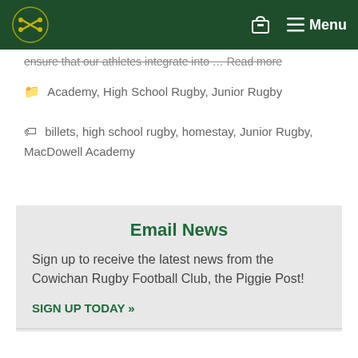Menu
ensure that our athletes integrate into … Read more
Academy, High School Rugby, Junior Rugby
billets, high school rugby, homestay, Junior Rugby, MacDowell Academy
Email News
Sign up to receive the latest news from the Cowichan Rugby Football Club, the Piggie Post!
SIGN UP TODAY »